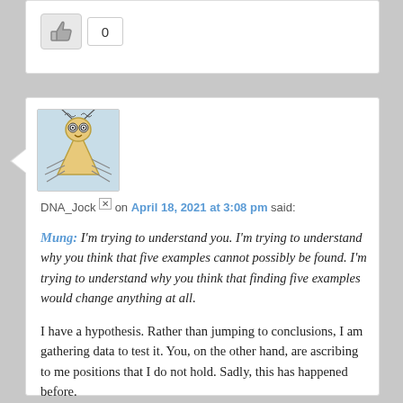[Figure (other): Thumbs up like button with count box showing 0]
[Figure (illustration): Avatar illustration of a cartoon bug/insect character with spiky antennae and wide eyes]
DNA_Jock [x] on April 18, 2021 at 3:08 pm said:
Mung: I'm trying to understand you. I'm trying to understand why you think that five examples cannot possibly be found. I'm trying to understand why you think that finding five examples would change anything at all.
I have a hypothesis. Rather than jumping to conclusions, I am gathering data to test it. You, on the other hand, are ascribing to me positions that I do not hold. Sadly, this has happened before.
If phoodoo, or anyone else, can find five examples, will